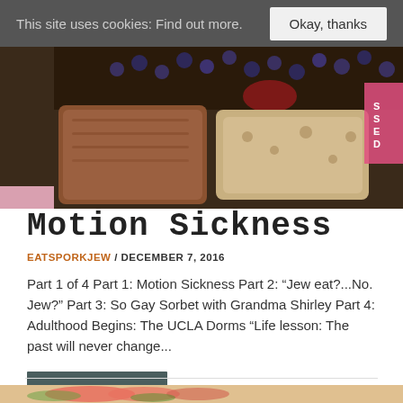This site uses cookies: Find out more.  Okay, thanks
[Figure (photo): Close-up photo of baked goods in a pink box: a large brown scone or baked bar on the left, a lighter biscuit/scone on the right, with blueberries and other treats in the background. A pink label with 'SSED' visible on the right edge.]
Motion Sickness
EATSPORKJEW / DECEMBER 7, 2016
Part 1 of 4 Part 1: Motion Sickness Part 2: “Jew eat?...No. Jew?” Part 3: So Gay Sorbet with Grandma Shirley Part 4: Adulthood Begins: The UCLA Dorms “Life lesson: The past will never change...
READ MORE »